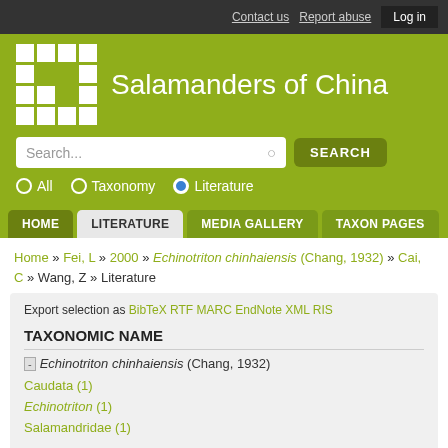Contact us   Report abuse   Log in
Salamanders of China
Search...
All   Taxonomy   Literature (selected)
HOME   LITERATURE   MEDIA GALLERY   TAXON PAGES
Home » Fei, L » 2000 » Echinotriton chinhaiensis (Chang, 1932) » Cai, C » Wang, Z » Literature
Export selection as BibTeX RTF MARC EndNote XML RIS
TAXONOMIC NAME
(-) Echinotriton chinhaiensis (Chang, 1932)
Caudata (1)
Echinotriton (1)
Salamandridae (1)